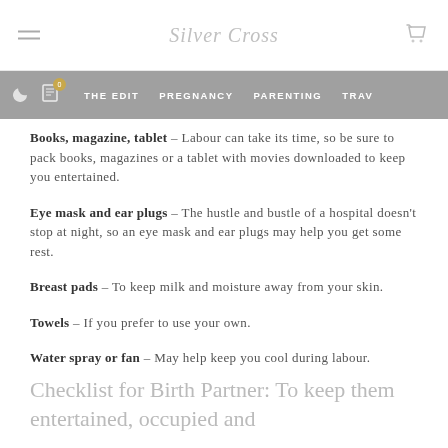Silver Cross — THE EDIT | PREGNANCY | PARENTING | TRAVEL
Books, magazine, tablet – Labour can take its time, so be sure to pack books, magazines or a tablet with movies downloaded to keep you entertained.
Eye mask and ear plugs – The hustle and bustle of a hospital doesn't stop at night, so an eye mask and ear plugs may help you get some rest.
Breast pads – To keep milk and moisture away from your skin.
Towels – If you prefer to use your own.
Water spray or fan – May help keep you cool during labour.
Checklist for Birth Partner: To keep them entertained, occupied and